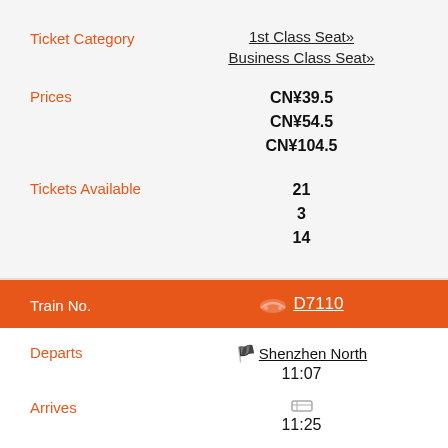Ticket Category | 1st Class Seat» | Business Class Seat»
Prices | CN¥39.5 | CN¥54.5 | CN¥104.5
Tickets Available | 21 | 3 | 14
Train No. | D7110
Departs | Shenzhen North | 11:07
Arrives | 11:25
Duration | 18min